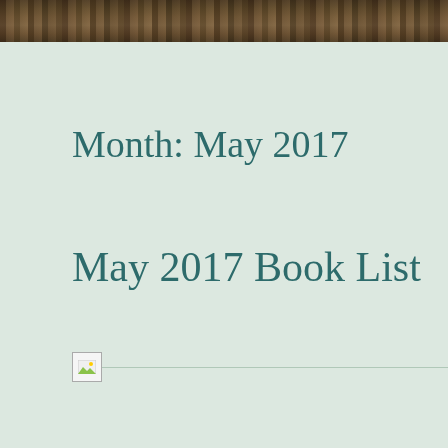[Figure (photo): Header image showing a row of books on a shelf, dark brown tones]
Month: May 2017
May 2017 Book List
[Figure (photo): Broken image placeholder with horizontal divider line]